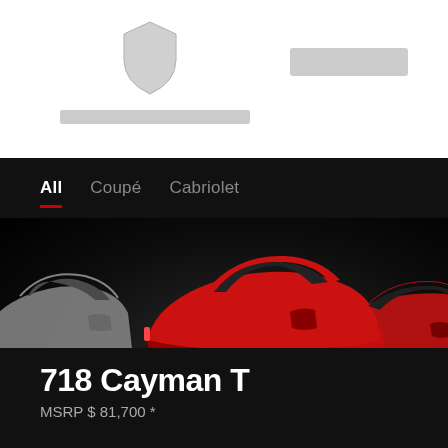[Figure (logo): Porsche shield logo in light grey on white background]
All
Coupé
Cabriolet
[Figure (photo): Side-profile view of three Porsche 718 Cayman sports cars on dark background. Center car is red (718 Cayman T), left car is silver/grey, right car is partially visible red. Studio lighting with dark floor.]
718 Cayman T
MSRP $ 81,700 *